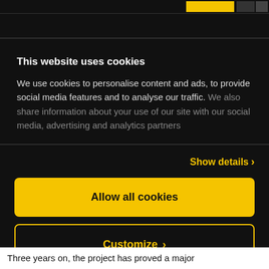This website uses cookies
We use cookies to personalise content and ads, to provide social media features and to analyse our traffic. We also share information about your use of our site with our social media, advertising and analytics partners
Show details
Allow all cookies
Customize
Powered by Cookiebot by Usercentrics
Three years on, the project has proved a major